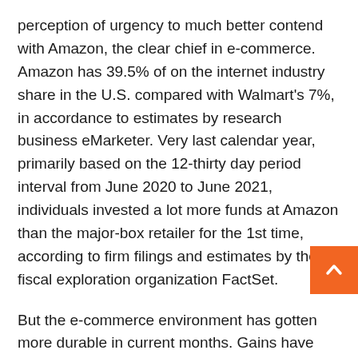perception of urgency to much better contend with Amazon, the clear chief in e-commerce. Amazon has 39.5% of on the internet industry share in the U.S. compared with Walmart's 7%, in accordance to estimates by research business eMarketer. Very last calendar year, primarily based on the 12-thirty day period interval from June 2020 to June 2021, individuals invested a lot more funds at Amazon than the major-box retailer for the 1st time, according to firm filings and estimates by the fiscal exploration organization FactSet.
But the e-commerce environment has gotten more durable in current months. Gains have slowed dramatically as extra consumers return to supplies. Even Amazon observed stagnating numbers in the most recent quarter, reporting its slowest sales